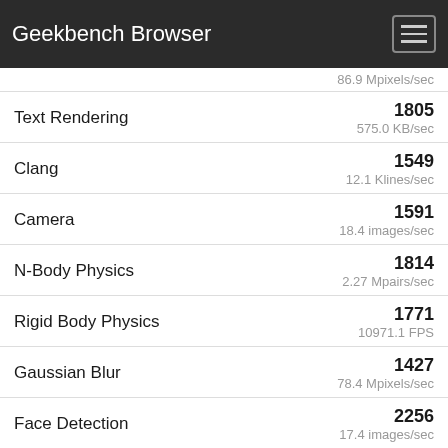Geekbench Browser
86.9 Mpixels/sec
| Benchmark | Score | Unit |
| --- | --- | --- |
| Text Rendering | 1805 | 575.0 KB/sec |
| Clang | 1549 | 12.1 Klines/sec |
| Camera | 1591 | 18.4 images/sec |
| N-Body Physics | 1814 | 2.27 Mpairs/sec |
| Rigid Body Physics | 1771 | 10971.1 FPS |
| Gaussian Blur | 1427 | 78.4 Mpixels/sec |
| Face Detection | 2256 | 17.4 images/sec |